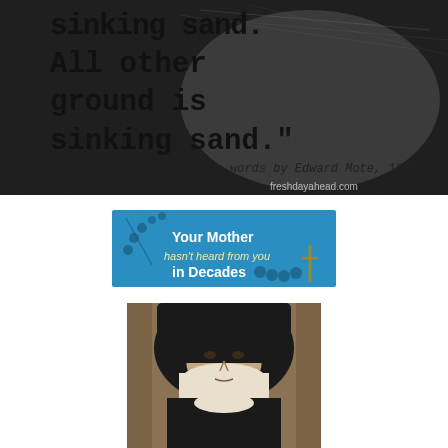[Figure (illustration): Black and white textured image with typewriter-style text quote: 'sinking sand. All other ground is sinking sand.' words by Edward Mote, 1863 — with freshdayahead.com watermark]
[Figure (illustration): Blue banner advertisement featuring a rosary and crucifix with text: 'Your Mother hasn't heard from you in Decades']
[Figure (illustration): Portrait painting of a woman wearing a black veil and white wimple, likely a religious figure or nun]